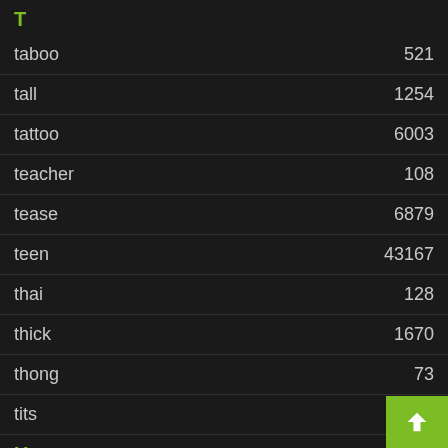T
| word | count |
| --- | --- |
| taboo | 521 |
| tall | 1254 |
| tattoo | 6003 |
| teacher | 108 |
| tease | 6879 |
| teen | 43167 |
| thai | 128 |
| thick | 1670 |
| thong | 73 |
| tits | 8196 |
U
| word | count |
| --- | --- |
| ugly | 32 |
| upskirt | 17129 |
V
vibrator